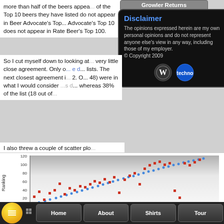more than half of the beers appear... of the Top 10 beers they have listed do not appear in Beer Advocate's Top... Advocate's Top 10 does not appear in Rate Beer's Top 100.
So I cut myself down to looking at... very little close agreement. Only o... lists. The next closest agreement i... 48) were in what I would consider... whereas 38% of the list (18 out of...
[Figure (screenshot): Growler Returns navigation bar popup overlay]
[Figure (screenshot): Disclaimer popup box with text: The opinions expressed herein are my own personal opinions and do not represent anyone else's view in any way, including those of my employer. © Copyright 2009. WordPress and Technorati icons shown.]
I also threw a couple of scatter plo...
[Figure (scatter-plot): Scatter plot showing BA vs RB rankings. Blue dots form a diagonal line from bottom-left to top-right. Red squares scattered with more variation above the line.]
BA vs. RB, Scatter 2
Home   About   Shirts   Tour